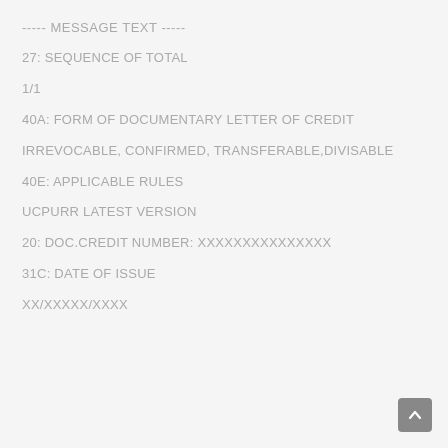----- MESSAGE TEXT -----
27: SEQUENCE OF TOTAL
1/1
40A: FORM OF DOCUMENTARY LETTER OF CREDIT
IRREVOCABLE, CONFIRMED, TRANSFERABLE,DIVISABLE
40E: APPLICABLE RULES
UCPURR LATEST VERSION
20: DOC.CREDIT NUMBER: XXXXXXXXXXXXXXX
31C: DATE OF ISSUE
XX/XXXXX/XXXX